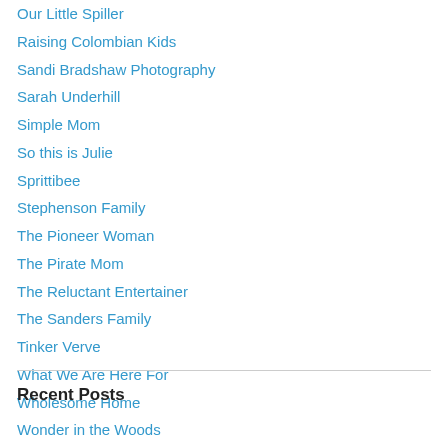Our Little Spiller
Raising Colombian Kids
Sandi Bradshaw Photography
Sarah Underhill
Simple Mom
So this is Julie
Sprittibee
Stephenson Family
The Pioneer Woman
The Pirate Mom
The Reluctant Entertainer
The Sanders Family
Tinker Verve
What We Are Here For
Wholesome Home
Wonder in the Woods
Zaza's Mama
Recent Posts